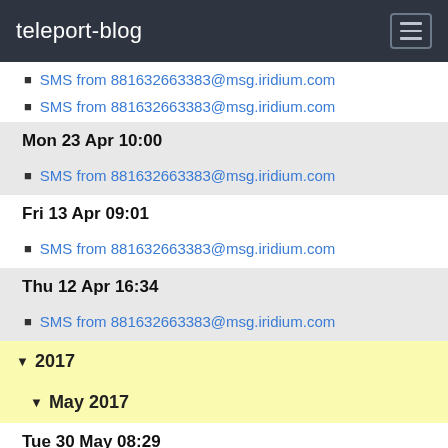teleport-blog
SMS from 881632663383@msg.iridium.com
SMS from 881632663383@msg.iridium.com
Mon 23 Apr 10:00
SMS from 881632663383@msg.iridium.com
Fri 13 Apr 09:01
SMS from 881632663383@msg.iridium.com
Thu 12 Apr 16:34
SMS from 881632663383@msg.iridium.com
2017
May 2017
Tue 30 May 08:29
SMS from 881632551697@msg.iridium.com
Sat 13 May 16:25
SMS from 881632551697@msg.iridium.com